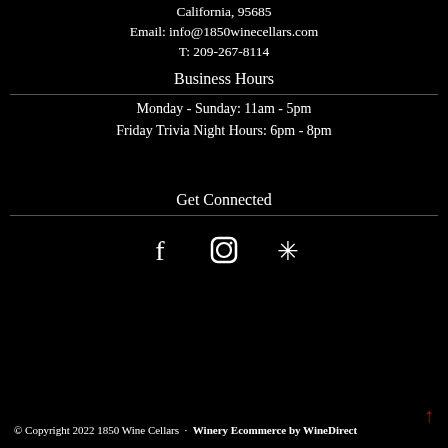California, 95685
Email: info@1850winecellars.com
T: 209-267-8114
Business Hours
Monday - Sunday: 11am - 5pm
Friday Trivia Night Hours: 6pm - 8pm
Get Connected
[Figure (infographic): Social media icons: Facebook (f), Instagram (circle with camera), Yelp (burst star)]
© Copyright 2022 1850 Wine Cellars · Winery Ecommerce by WineDirect